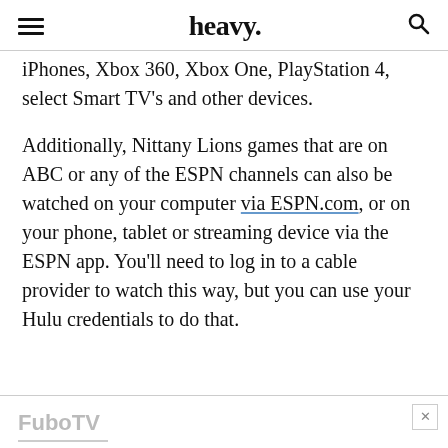heavy.
iPhones, Xbox 360, Xbox One, PlayStation 4, select Smart TV's and other devices.
Additionally, Nittany Lions games that are on ABC or any of the ESPN channels can also be watched on your computer via ESPN.com, or on your phone, tablet or streaming device via the ESPN app. You'll need to log in to a cable provider to watch this way, but you can use your Hulu credentials to do that.
FuboTV